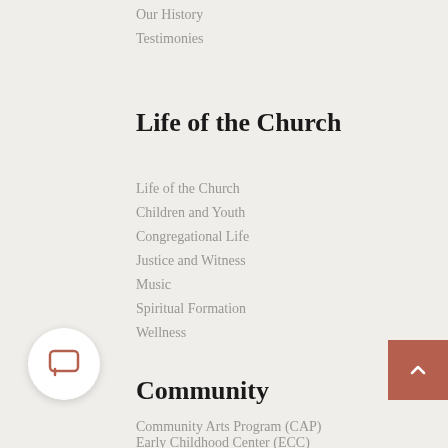Our History
Testimonies
Life of the Church
Life of the Church
Children and Youth
Congregational Life
Justice and Witness
Music
Spiritual Formation
Wellness
Community
Community Arts Program (CAP)
Early Childhood Center (ECC)
Miami Fair Trade MarketPlace